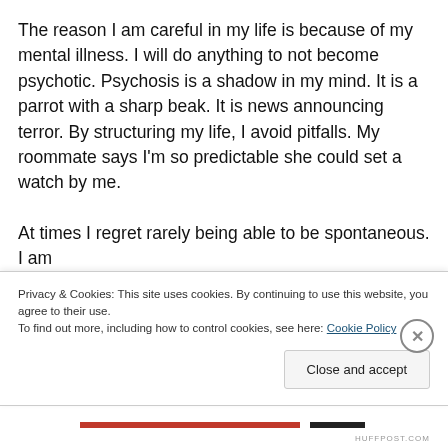The reason I am careful in my life is because of my mental illness. I will do anything to not become psychotic. Psychosis is a shadow in my mind. It is a parrot with a sharp beak. It is news announcing terror. By structuring my life, I avoid pitfalls. My roommate says I'm so predictable she could set a watch by me.

At times I regret rarely being able to be spontaneous. I am
Privacy & Cookies: This site uses cookies. By continuing to use this website, you agree to their use.
To find out more, including how to control cookies, see here: Cookie Policy
Close and accept